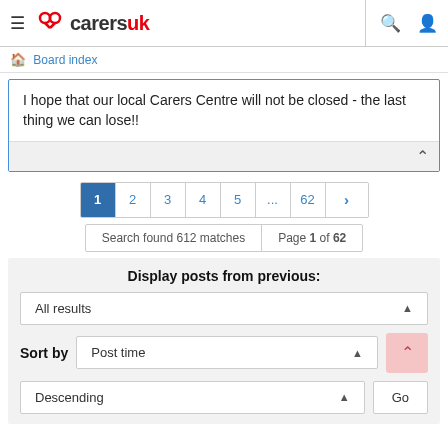≡  carersuk  🔍  👤
🏠 Board index
I hope that our local Carers Centre will not be closed - the last thing we can lose!!
Pagination: 1 2 3 4 5 ... 62 >
Search found 612 matches  |  Page 1 of 62
Display posts from previous:
All results
Sort by  Post time
Descending  Go